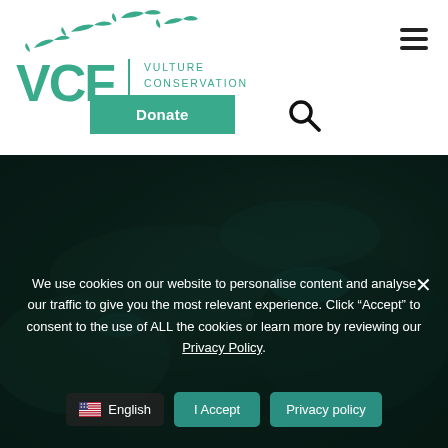[Figure (logo): VCF Vulture Conservation Foundation logo with flying vulture silhouettes above large VCF letters and tagline text]
[Figure (other): Donate button (teal/green) and search icon in the header navigation area]
[Figure (photo): Dark teal aerial photograph of landscape used as hero background image with dark overlay]
We use cookies on our website to personalise content and analyse our traffic to give you the most relevant experience. Click “Accept” to consent to the use of ALL the cookies or learn more by reviewing our Privacy Policy.
[Figure (other): Cookie consent buttons: English language selector, I Accept button, Privacy policy button]